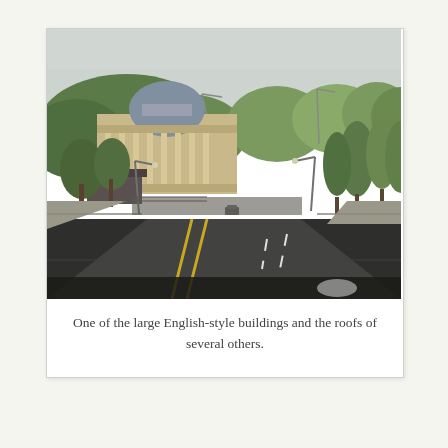[Figure (photo): A street-level photo taken from inside a vehicle looking down a wide multi-lane road. On the left stands a large neoclassical building with a prominent dome and tall columns, set against a hillside with green trees. Street lamps line the road on both sides. The road has yellow center lines and white lane markings. Trees line the right side. The sky is overcast. A car is visible further down the road.]
One of the large English-style buildings and the roofs of several others.